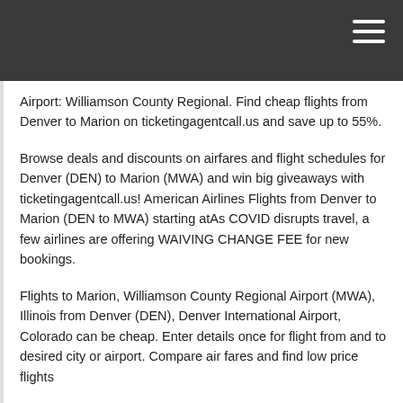Airport: Williamson County Regional. Find cheap flights from Denver to Marion on ticketingagentcall.us and save up to 55%.
Browse deals and discounts on airfares and flight schedules for Denver (DEN) to Marion (MWA) and win big giveaways with ticketingagentcall.us! American Airlines Flights from Denver to Marion (DEN to MWA) starting atAs COVID disrupts travel, a few airlines are offering WAIVING CHANGE FEE for new bookings.
Flights to Marion, Williamson County Regional Airport (MWA), Illinois from Denver (DEN), Denver International Airport, Colorado can be cheap. Enter details once for flight from and to desired city or airport. Compare air fares and find low price flights